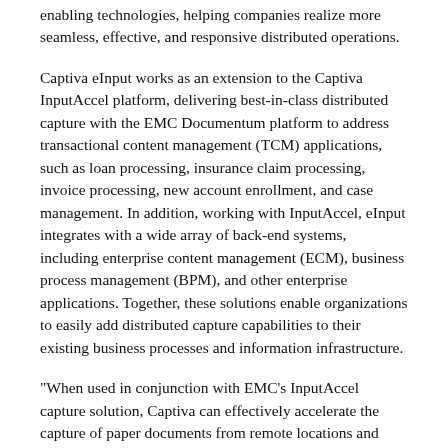enabling technologies, helping companies realize more seamless, effective, and responsive distributed operations.
Captiva eInput works as an extension to the Captiva InputAccel platform, delivering best-in-class distributed capture with the EMC Documentum platform to address transactional content management (TCM) applications, such as loan processing, insurance claim processing, invoice processing, new account enrollment, and case management. In addition, working with InputAccel, eInput integrates with a wide array of back-end systems, including enterprise content management (ECM), business process management (BPM), and other enterprise applications. Together, these solutions enable organizations to easily add distributed capture capabilities to their existing business processes and information infrastructure.
"When used in conjunction with EMC's InputAccel capture solution, Captiva can effectively accelerate the capture of paper documents from remote locations and reduce or eliminate manual handling and delivery service costs between remote offices and centralized processing," said Chris Preston, Senior Director, Content